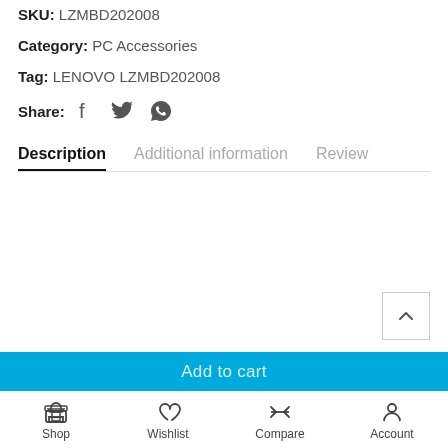SKU: LZMBD202008
Category: PC Accessories
Tag: LENOVO LZMBD202008
Share: [Facebook] [Twitter] [WhatsApp]
Description | Additional information | Review
Add to cart
Shop | Wishlist | Compare | Account